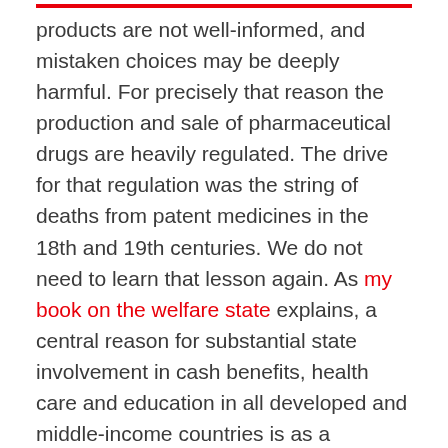products are not well-informed, and mistaken choices may be deeply harmful. For precisely that reason the production and sale of pharmaceutical drugs are heavily regulated. The drive for that regulation was the string of deaths from patent medicines in the 18th and 19th centuries. We do not need to learn that lesson again. As my book on the welfare state explains, a central reason for substantial state involvement in cash benefits, health care and education in all developed and middle-income countries is as a response to market failure.

The simple herd immunity model, like the